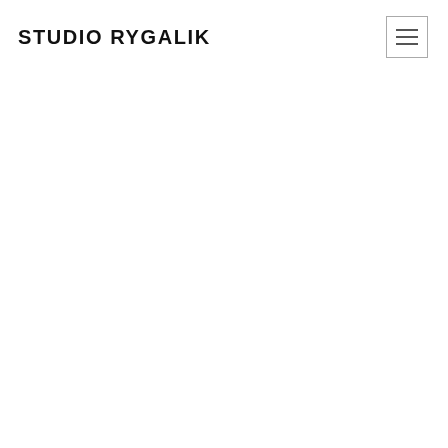STUDIO RYGALIK
[Figure (other): Hamburger menu button icon — three horizontal lines inside a square border]